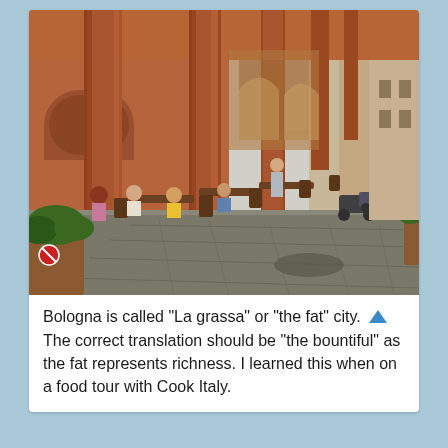[Figure (photo): Outdoor street cafe scene in Bologna, Italy. People dining at tables under an arched portico with tall terracotta brick columns. Cobblestone street with motorcycles parked along the right side. A parking sign (P) is visible in the background. Street recedes into the distance with more pedestrians and buildings.]
Bologna is called “La grassa” or “the fat” city. The correct translation should be “the bountiful” as the fat represents richness. I learned this when on a food tour with Cook Italy.